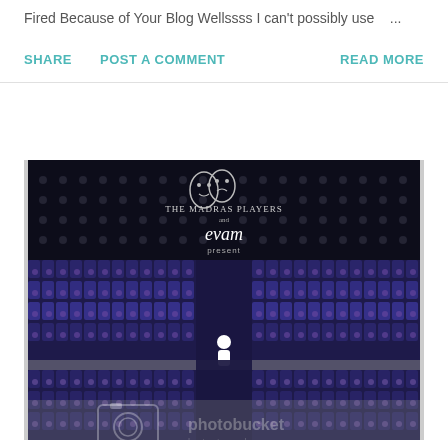Fired Because of Your Blog Wellssss I can't possibly use ...
SHARE   POST A COMMENT   READ MORE
[Figure (photo): Theater event poster for 'The Madras Players and evam present' featuring dramatic mask logos, with a background of blue/purple theater seats and a small white figure icon. A Photobucket watermark is visible at the bottom.]